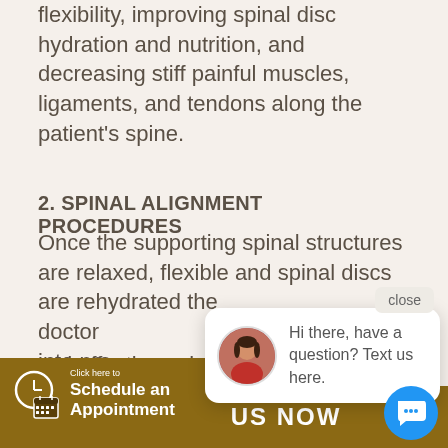flexibility, improving spinal disc hydration and nutrition, and decreasing stiff painful muscles, ligaments, and tendons along the patient's spine.
2. SPINAL ALIGNMENT PROCEDURES
Once the supporting spinal structures are relaxed, flexible and spinal discs are rehydrated the doctor will then align the spine into pro...
[Figure (screenshot): Chat popup overlay with avatar photo of a woman in red, message text 'Hi there, have a question? Text us here.' and a close button.]
[Figure (infographic): Gold/brown button with clock and calendar icon reading 'Click here to Schedule an Appointment']
...d effective spinal
CALL US NOW